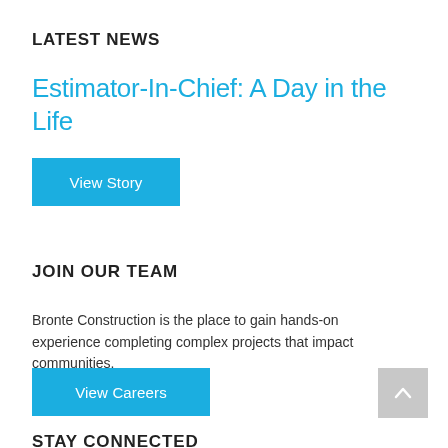LATEST NEWS
Estimator-In-Chief: A Day in the Life
View Story
JOIN OUR TEAM
Bronte Construction is the place to gain hands-on experience completing complex projects that impact communities.
View Careers
STAY CONNECTED